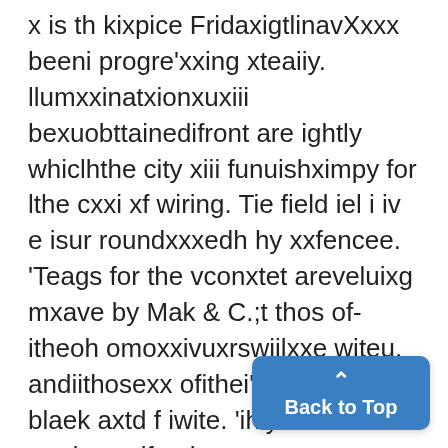x is th kixpice FridaxigtlinavXxxx beeni progre'xxing xteaiiy. llumxxinatxionxuxiii bexuobttainedifront are ightly whiclhthe city xiii funuishximpy for lthe cxxi xf wiring. Tie field iel i iv e isur roundxxxedh hy xxfencee. 'Teags for the vconxtet areveluixg mxave by Mak & C.;t thos of- itheoh omoxxivuxrswiilxxe witeu, andiithosexx ofithei'frexshxmcxx blaek axtd f iwite. 'ihiy xil xe madue xxif uuheay canva'sxxStiffedt'lvihxcxxxeiorA lrg hip the Stxxut Countelitox ectuatulhe rulexs xoi thisixcontet re obxev xxxiiixvilbelowthiueevltoveer i a
[Figure (other): Back to Top button with upward arrow chevron, blue rounded rectangle UI element]